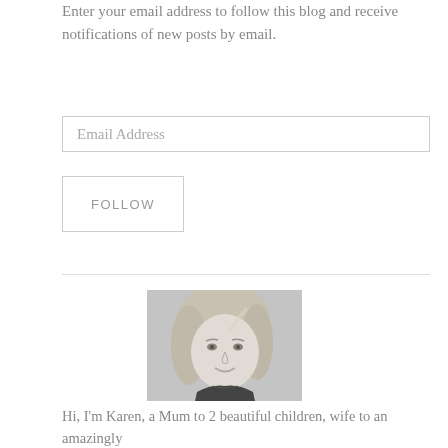Enter your email address to follow this blog and receive notifications of new posts by email.
Email Address
FOLLOW
[Figure (photo): Black and white headshot photo of a smiling blonde woman]
Hi, I'm Karen, a Mum to 2 beautiful children, wife to an amazingly